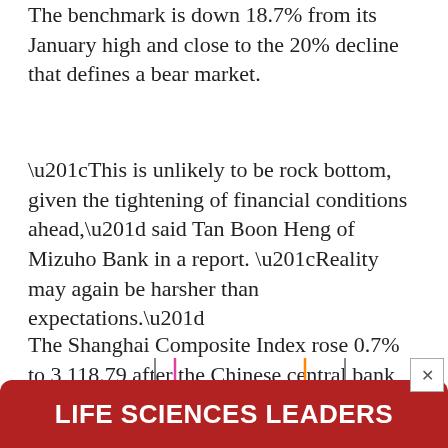The benchmark is down 18.7% from its January high and close to the 20% decline that defines a bear market.
“This is unlikely to be rock bottom, given the tightening of financial conditions ahead,” said Tan Boon Heng of Mizuho Bank in a report. “Reality may again be harsher than expectations.”
The Shanghai Composite Index rose 0.7% to 3,118.79 after the Chinese central bank reduced its rate on a five-year loan in a move that would shore up weak housing sales by cutting mortgage costs. The one-year loan rate that affect...
[Figure (infographic): Red advertisement banner at the bottom reading LIFE SCIENCES LEADERS with decorative colored circles and lines on left and right sides]